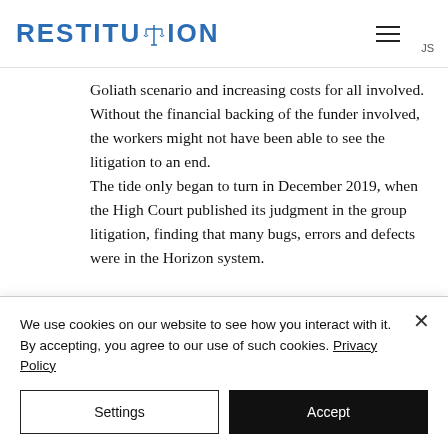RESTITUTION
Goliath scenario and increasing costs for all involved. Without the financial backing of the funder involved, the workers might not have been able to see the litigation to an end. The tide only began to turn in December 2019, when the High Court published its judgment in the group litigation, finding that many bugs, errors and defects were in the Horizon system.
We use cookies on our website to see how you interact with it. By accepting, you agree to our use of such cookies. Privacy Policy
Settings
Accept